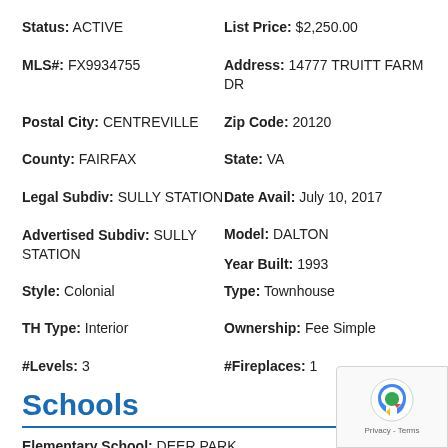Status: ACTIVE
List Price: $2,250.00
MLS#: FX9934755
Address: 14777 TRUITT FARM DR
Postal City: CENTREVILLE
Zip Code: 20120
County: FAIRFAX
State: VA
Legal Subdiv: SULLY STATION
Date Avail: July 10, 2017
Advertised Subdiv: SULLY STATION
Model: DALTON
Year Built: 1993
Style: Colonial
Type: Townhouse
TH Type: Interior
Ownership: Fee Simple
#Levels: 3
#Fireplaces: 1
Schools
Elementary School: DEER PARK